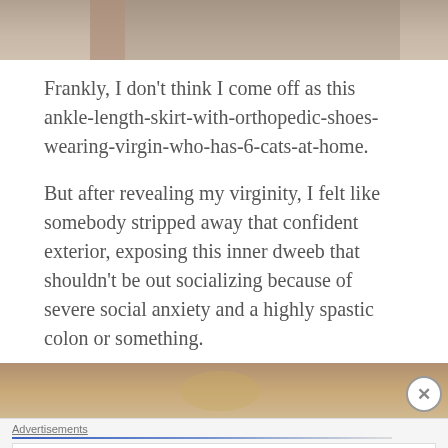[Figure (photo): Top portion of a photo, cropped, showing a person holding something, muted warm tones]
Frankly, I don't think I come off as this ankle-length-skirt-with-orthopedic-shoes-wearing-virgin-who-has-6-cats-at-home.
But after revealing my virginity, I felt like somebody stripped away that confident exterior, exposing this inner dweeb that shouldn't be out socializing because of severe social anxiety and a highly spastic colon or something.
[Figure (photo): Bottom portion of a photo, cropped, showing people in a warm-lit indoor setting]
Advertisements
The Platform Where WordPress Works Best   Pressable